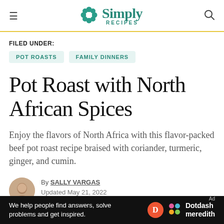Simply Recipes
FILED UNDER:
POT ROASTS
FAMILY DINNERS
Pot Roast with North African Spices
Enjoy the flavors of North Africa with this flavor-packed beef pot roast recipe braised with coriander, turmeric, ginger, and cumin.
By SALLY VARGAS
Updated May 21, 2022
We help people find answers, solve problems and get inspired. Dotdash meredith